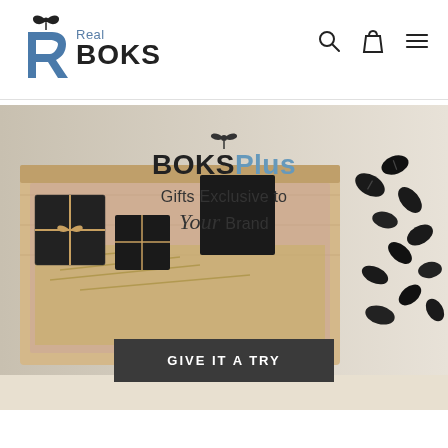[Figure (logo): Real BOKS logo with stylized R letter mark and gift bow icon on top]
[Figure (screenshot): Website hero section showing a wooden gift box filled with black wrapped presents and straw, with BoksPlus overlay text and coffee beans scattered on the right side]
BOKSPlus
Gifts Exclusive to Your Brand
GIVE IT A TRY